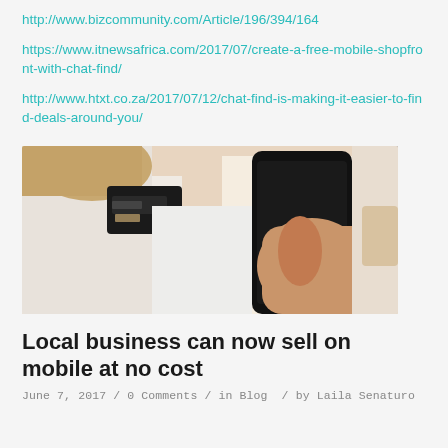http://www.bizcommunity.com/Article/196/394/164
https://www.itnewsafrica.com/2017/07/create-a-free-mobile-shopfront-with-chat-find/
http://www.htxt.co.za/2017/07/12/chat-find-is-making-it-easier-to-find-deals-around-you/
[Figure (photo): Person in white t-shirt holding a credit card and a smartphone, mobile commerce concept image]
Local business can now sell on mobile at no cost
June 7, 2017 / 0 Comments / in Blog / by Laila Senaturo